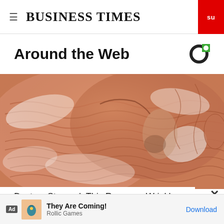BUSINESS TIMES
Around the Web
[Figure (photo): Close-up photograph of a person's face covered with white skincare cream or mask, showing wrinkled and aged skin texture]
Doctors Stunned: This Removes Wrinkles and Eye-
Ad | They Are Coming! | Rollic Games | Download